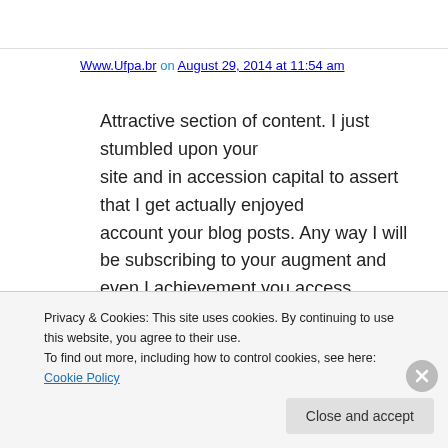Www.Ufpa.br on August 29, 2014 at 11:54 am
Attractive section of content. I just stumbled upon your site and in accession capital to assert that I get actually enjoyed account your blog posts. Any way I will be subscribing to your augment and even I achievement you access consistently quickly.
Privacy & Cookies: This site uses cookies. By continuing to use this website, you agree to their use.
To find out more, including how to control cookies, see here: Cookie Policy